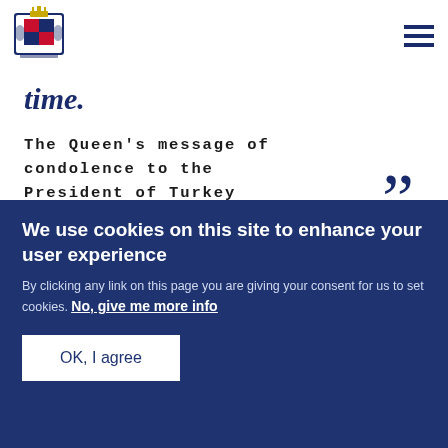[Figure (logo): UK Government Royal Coat of Arms crest in navy blue]
time.
The Queen's message of condolence to the President of Turkey
We use cookies on this site to enhance your user experience
By clicking any link on this page you are giving your consent for us to set cookies. No, give me more info
OK, I agree